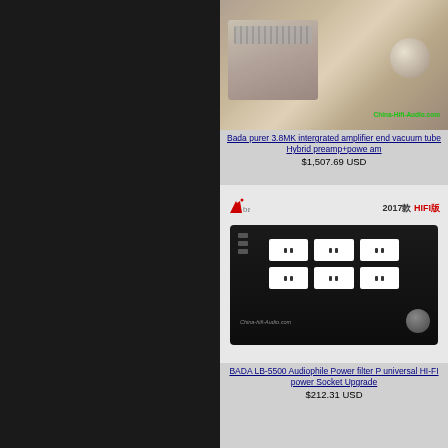[Figure (photo): Silver/aluminum integrated amplifier with large knob, ventilation slots, China-Hifi-Audio.com watermark]
Bada purer 3.8MK intergrated amplifier end vacuum tube Hybrid preamp+powe am
$1,507.69 USD
[Figure (photo): BADA LB-5500 black power filter strip with multiple outlets, 2017 HIFI version branding, China-hifi-Audio.com watermark]
BADA LB-5500 Audiophile Power filter P universal HI-FI power Socket Upgrade
$212.31 USD